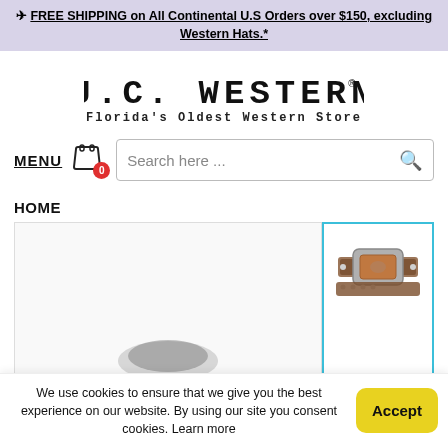✈ FREE SHIPPING on All Continental U.S Orders over $150, excluding Western Hats.*
[Figure (logo): J.C. Western logo with text 'Florida's Oldest Western Store']
[Figure (screenshot): Navigation bar with MENU, cart icon with 0 badge, and search box]
HOME
[Figure (photo): Product thumbnail showing a western belt with decorative buckle]
We use cookies to ensure that we give you the best experience on our website. By using our site you consent cookies. Learn more